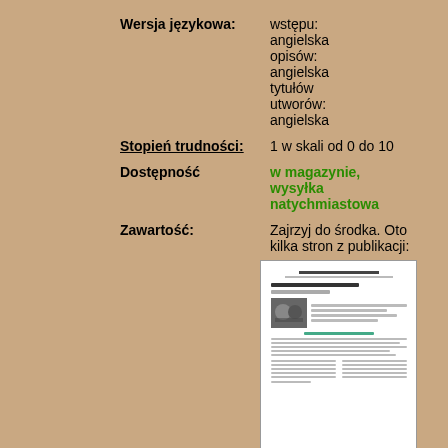Wersja językowa:
wstępu: angielska opisów: angielska tytułów utworów: angielska
Stopień trudności: 1 w skali od 0 do 10
Dostępność: w magazynie, wysyłka natychmiastowa
Zawartość: Zajrzyj do środka. Oto kilka stron z publikacji:
[Figure (photo): Thumbnail preview of publication pages]
Kod produktu: NPL065780
Nowoczesna metoda szybkiej nauki gry na gitarze